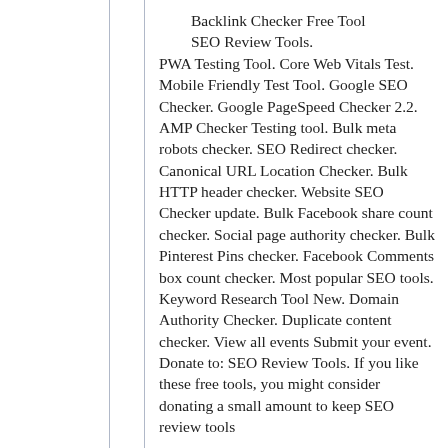Backlink Checker Free Tool SEO Review Tools. PWA Testing Tool. Core Web Vitals Test. Mobile Friendly Test Tool. Google SEO Checker. Google PageSpeed Checker 2.2. AMP Checker Testing tool. Bulk meta robots checker. SEO Redirect checker. Canonical URL Location Checker. Bulk HTTP header checker. Website SEO Checker update. Bulk Facebook share count checker. Social page authority checker. Bulk Pinterest Pins checker. Facebook Comments box count checker. Most popular SEO tools. Keyword Research Tool New. Domain Authority Checker. Duplicate content checker. View all events Submit your event. Donate to: SEO Review Tools. If you like these free tools, you might consider donating a small amount to keep SEO review tools